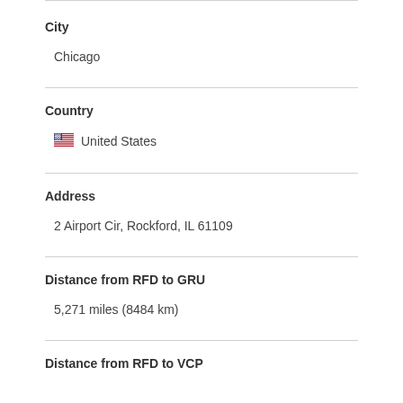City
Chicago
Country
United States
Address
2 Airport Cir, Rockford, IL 61109
Distance from RFD to GRU
5,271 miles (8484 km)
Distance from RFD to VCP